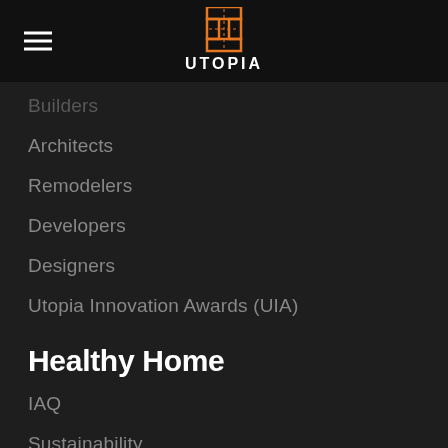[Figure (logo): Utopia logo with orange cross/plus icon above text UTOPIA in white bold letters]
Builders
Architects
Remodelers
Developers
Designers
Utopia Innovation Awards (UIA)
Healthy Home
IAQ
Sustainability
Resiliency
Biophilic